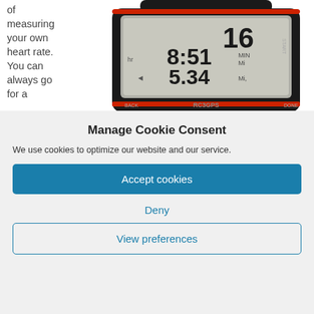of measuring your own heart rate. You can always go for a
[Figure (photo): GPS running watch (RC3 GPS) showing time 8:51, pace 5.34, and distance 16, with black casing and red accent strip]
Manage Cookie Consent
We use cookies to optimize our website and our service.
Accept cookies
Deny
View preferences